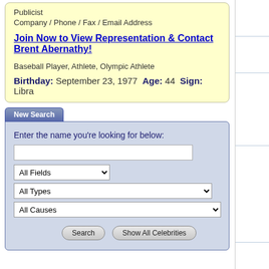Publicist
Company / Phone / Fax / Email Address
Join Now to View Representation & Contact Brent Abernathy!
Baseball Player, Athlete, Olympic Athlete
Birthday: September 23, 1977 Age: 44 Sign: Libra
New Search
Enter the name you're looking for below:
All Fields dropdown, All Types dropdown, All Causes dropdown
Search | Show All Celebrities